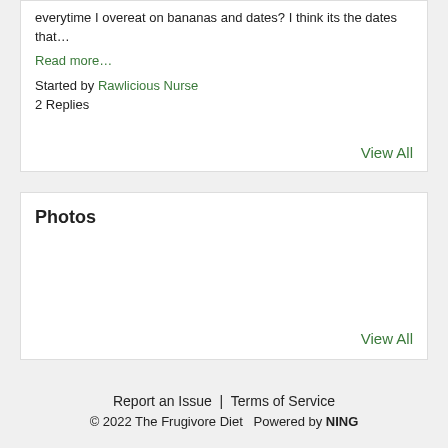everytime I overeat on bananas and dates? I think its the dates that…
Read more…
Started by Rawlicious Nurse
2 Replies
View All
Photos
View All
Report an Issue  |  Terms of Service
© 2022 The Frugivore Diet   Powered by NING